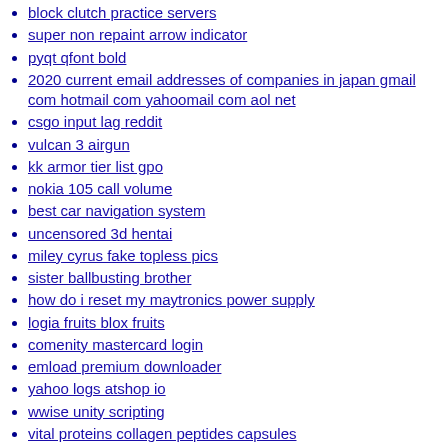block clutch practice servers
super non repaint arrow indicator
pyqt qfont bold
2020 current email addresses of companies in japan gmail com hotmail com yahoomail com aol net
csgo input lag reddit
vulcan 3 airgun
kk armor tier list gpo
nokia 105 call volume
best car navigation system
uncensored 3d hentai
miley cyrus fake topless pics
sister ballbusting brother
how do i reset my maytronics power supply
logia fruits blox fruits
comenity mastercard login
emload premium downloader
yahoo logs atshop io
wwise unity scripting
vital proteins collagen peptides capsules
zensei strain cali x
xnxx com father in love
uk49 win today
c program to remove duplicate elements in an array using pointers